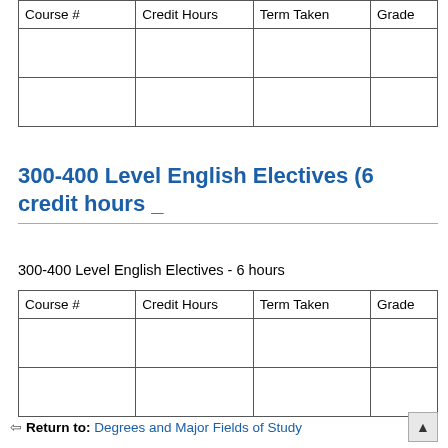| Course # | Credit Hours | Term Taken | Grade |
| --- | --- | --- | --- |
|  |  |  |  |
|  |  |  |  |
300-400 Level English Electives (6 credit hours _
300-400 Level English Electives - 6 hours
| Course # | Credit Hours | Term Taken | Grade |
| --- | --- | --- | --- |
|  |  |  |  |
|  |  |  |  |
← Return to: Degrees and Major Fields of Study